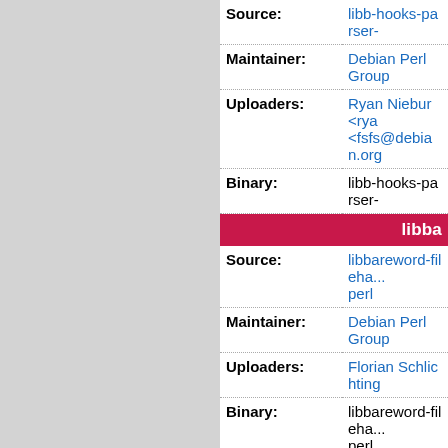| Field | Value |
| --- | --- |
| Source: | libb-hooks-parser- |
| Maintainer: | Debian Perl Group |
| Uploaders: | Ryan Niebur <rya... <fsfs@debian.org |
| Binary: | libb-hooks-parser- |
libba
| Field | Value |
| --- | --- |
| Source: | libbareword-fileha... perl |
| Maintainer: | Debian Perl Group |
| Uploaders: | Florian Schlichting |
| Binary: | libbareword-fileha... perl |
libbi
| Field | Value |
| --- | --- |
| Source: | libbio-asn1-entrez... perl |
| Maintainer: | Debian Perl Group |
| Uploaders: | gregor herrmann s |
| Binary: | libbio-asn1-entro... |